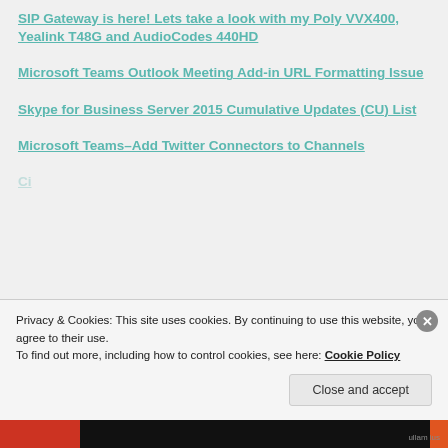SIP Gateway is here! Lets take a look with my Poly VVX400, Yealink T48G and AudioCodes 440HD
Microsoft Teams Outlook Meeting Add-in URL Formatting Issue
Skype for Business Server 2015 Cumulative Updates (CU) List
Microsoft Teams–Add Twitter Connectors to Channels
Citrix...
Privacy & Cookies: This site uses cookies. By continuing to use this website, you agree to their use. To find out more, including how to control cookies, see here: Cookie Policy
Close and accept